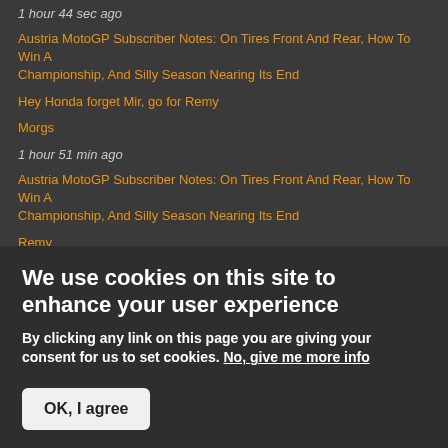1 hour 44 sec ago
Austria MotoGP Subscriber Notes: On Tires Front And Rear, How To Win A Championship, And Silly Season Nearing Its End
Hey Honda forget Mir, go for Remy
Morgs
1 hour 51 min ago
Austria MotoGP Subscriber Notes: On Tires Front And Rear, How To Win A Championship, And Silly Season Nearing Its End
Remy
Krusty
3 hours 5 min ago
Austria MotoGP Subscriber Notes: On Tires Front And Rear, How To Win A Championship, And Silly Season Nearing Its End
We use cookies on this site to enhance your user experience
By clicking any link on this page you are giving your consent for us to set cookies. No, give me more info
OK, I agree